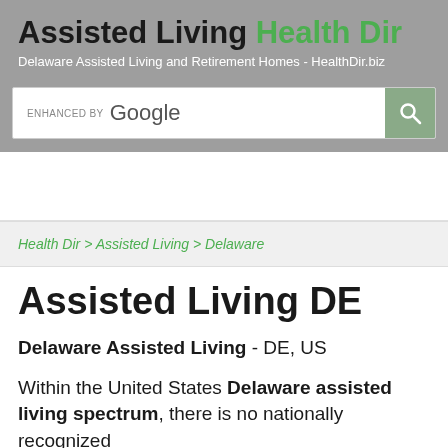Assisted Living Health Dir - Delaware Assisted Living and Retirement Homes - HealthDir.biz
[Figure (screenshot): Google search bar with enhanced by Google label and search button]
Health Dir > Assisted Living > Delaware
Assisted Living DE
Delaware Assisted Living - DE, US
Within the United States Delaware assisted living spectrum, there is no nationally recognized